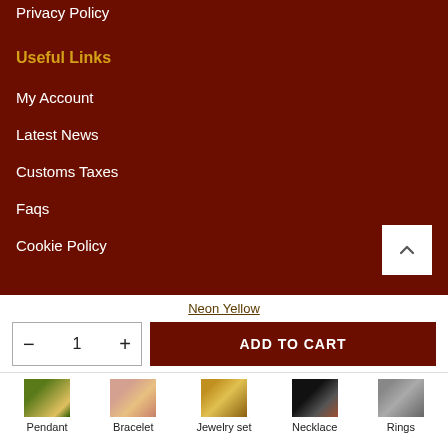Privacy Policy
Useful Links
My Account
Latest News
Customs Taxes
Faqs
Cookie Policy
Neon Yellow
- 1 + ADD TO CART
[Figure (other): Category thumbnails row: Pendant, Bracelet, Jewelry set, Necklace, Rings]